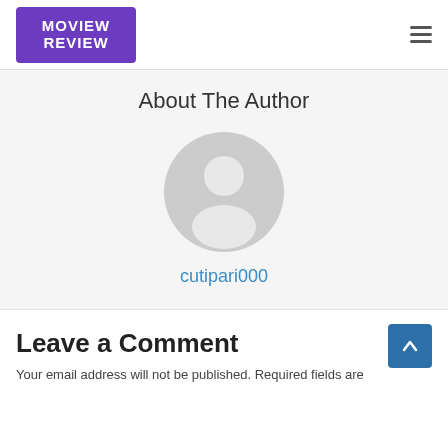MOVIEW REVIEW
About The Author
[Figure (illustration): Default grey user avatar placeholder (circular silhouette of a person with head and shoulders on a grey background)]
cutipari000
Leave a Comment
Your email address will not be published. Required fields are